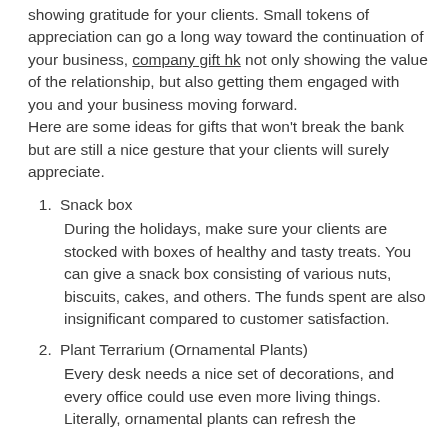showing gratitude for your clients. Small tokens of appreciation can go a long way toward the continuation of your business, company gift hk not only showing the value of the relationship, but also getting them engaged with you and your business moving forward. Here are some ideas for gifts that won't break the bank but are still a nice gesture that your clients will surely appreciate.
Snack box
During the holidays, make sure your clients are stocked with boxes of healthy and tasty treats. You can give a snack box consisting of various nuts, biscuits, cakes, and others. The funds spent are also insignificant compared to customer satisfaction.
Plant Terrarium (Ornamental Plants)
Every desk needs a nice set of decorations, and every office could use even more living things. Literally, ornamental plants can refresh the